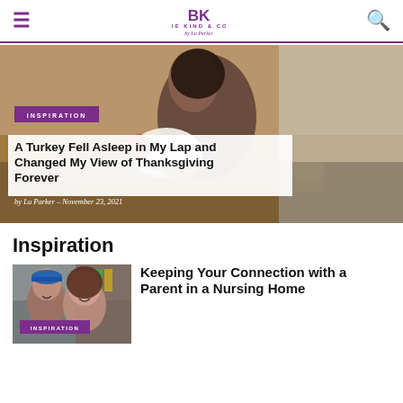BE KIND & CO by Lu Parker
[Figure (photo): Woman kissing a turkey in a barn setting with hay in the background]
A Turkey Fell Asleep in My Lap and Changed My View of Thanksgiving Forever
by Lu Parker – November 23, 2021
Inspiration
[Figure (photo): Older man in blue cap and woman smiling, indoors with bookshelves]
Keeping Your Connection with a Parent in a Nursing Home